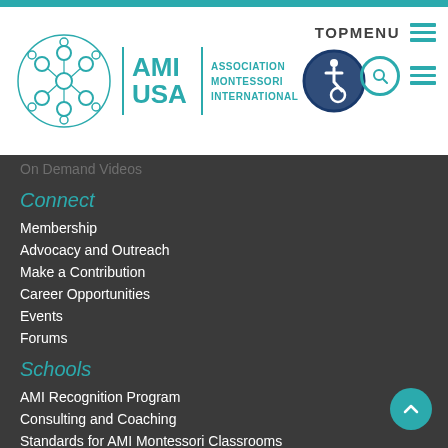[Figure (logo): AMI USA Association Montessori International logo with teal circular pattern and text, plus accessibility icon]
TOPMENU
On Demand Videos
Connect
Membership
Advocacy and Outreach
Make a Contribution
Career Opportunities
Events
Forums
Schools
AMI Recognition Program
Consulting and Coaching
Standards for AMI Montessori Classrooms
AMI Training Center Locator